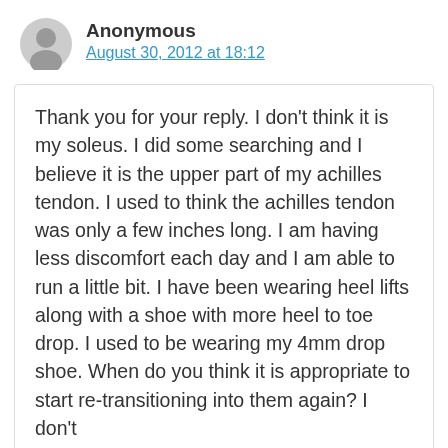Anonymous
August 30, 2012 at 18:12
Thank you for your reply. I don't think it is my soleus. I did some searching and I believe it is the upper part of my achilles tendon. I used to think the achilles tendon was only a few inches long. I am having less discomfort each day and I am able to run a little bit. I have been wearing heel lifts along with a shoe with more heel to toe drop. I used to be wearing my 4mm drop shoe. When do you think it is appropriate to start re-transitioning into them again? I don't